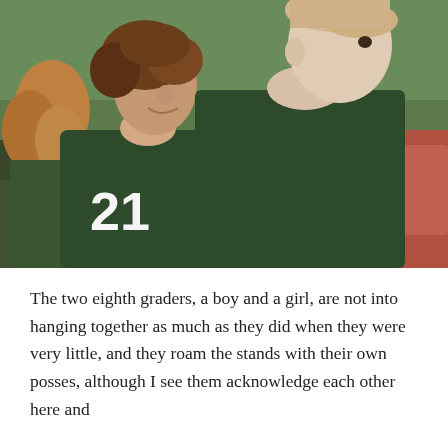[Figure (photo): Two teenage boys in dark green athletic jerseys standing on a sports field with a red track visible in the background. The boy on the left wears jersey number 21 and is smiling, looking to his right. The boy on the right is taller with short blond hair, shown in profile. A girl with curly reddish-blonde hair is partially visible on the far left.]
The two eighth graders, a boy and a girl, are not into hanging together as much as they did when they were very little, and they roam the stands with their own posses, although I see them acknowledge each other here and